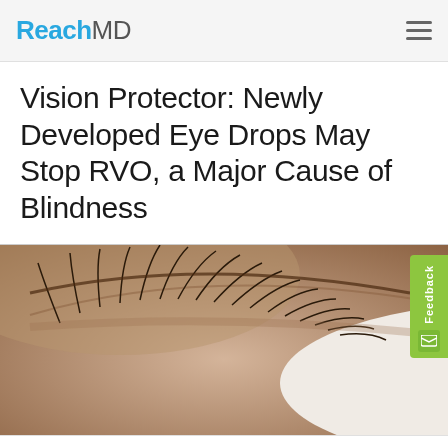ReachMD
Vision Protector: Newly Developed Eye Drops May Stop RVO, a Major Cause of Blindness
[Figure (photo): Close-up photograph of a human eye with long eyelashes, focusing on the iris and pupil with a light reflection]
By clicking "Accept All Cookies", you agree to the storing of cookies on your device to enhance site navigation, analyze site usage, and assist in our marketing efforts.